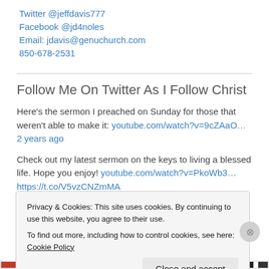Twitter @jeffdavis777
Facebook @jd4noles
Email: jdavis@genuchurch.com
850-678-2531
Follow Me On Twitter As I Follow Christ
Here's the sermon I preached on Sunday for those that weren't able to make it: youtube.com/watch?v=9cZAaO… 2 years ago
Check out my latest sermon on the keys to living a blessed life. Hope you enjoy! youtube.com/watch?v=PkoWb3… https://t.co/V5vzCNZmMA 3 years ago
Privacy & Cookies: This site uses cookies. By continuing to use this website, you agree to their use.
To find out more, including how to control cookies, see here: Cookie Policy